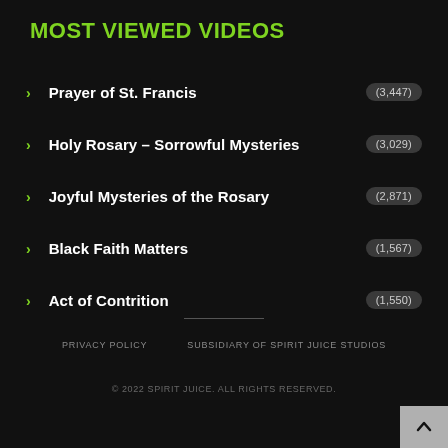MOST VIEWED VIDEOS
Prayer of St. Francis (3,447)
Holy Rosary – Sorrowful Mysteries (3,029)
Joyful Mysteries of the Rosary (2,871)
Black Faith Matters (1,567)
Act of Contrition (1,550)
PRIVACY POLICY   SUBSIDIARY OF SPIRIT JUICE STUDIOS
© 2022 SPIRIT JUICE. ALL RIGHTS RESERVED.